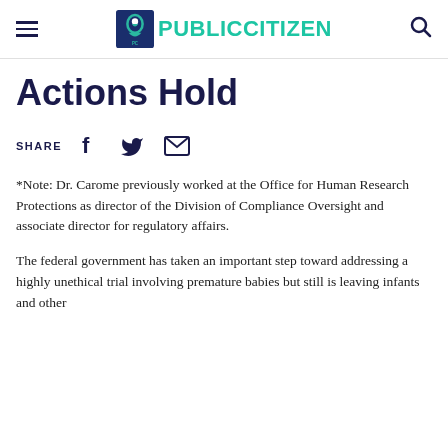PUBLIC CITIZEN
Actions Hold
SHARE
*Note: Dr. Carome previously worked at the Office for Human Research Protections as director of the Division of Compliance Oversight and associate director for regulatory affairs.
The federal government has taken an important step toward addressing a highly unethical trial involving premature babies but still is leaving infants and other